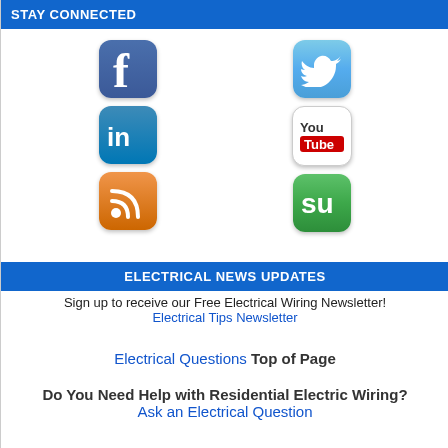STAY CONNECTED
[Figure (infographic): Six social media icons arranged in two columns: Facebook, LinkedIn, RSS on the left; Twitter, YouTube, StumbleUpon on the right]
ELECTRICAL NEWS UPDATES
Sign up to receive our Free Electrical Wiring Newsletter!
Electrical Tips Newsletter
Electrical Questions Top of Page
Do You Need Help with Residential Electric Wiring?
Ask an Electrical Question